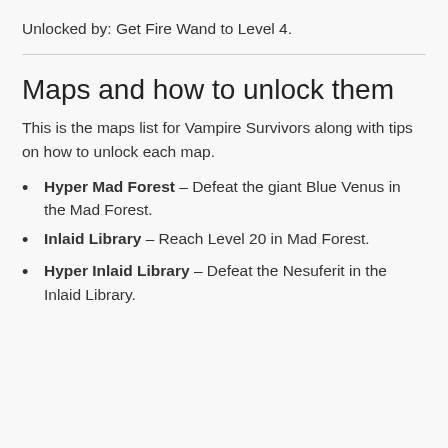Unlocked by: Get Fire Wand to Level 4.
Maps and how to unlock them
This is the maps list for Vampire Survivors along with tips on how to unlock each map.
Hyper Mad Forest – Defeat the giant Blue Venus in the Mad Forest.
Inlaid Library – Reach Level 20 in Mad Forest.
Hyper Inlaid Library – Defeat the Nesuferit in the Inlaid Library.